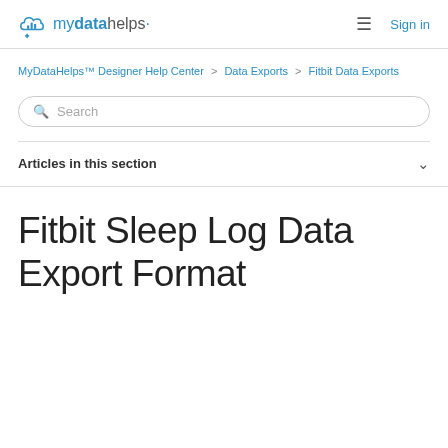mydatahelps· Sign in
MyDataHelps™ Designer Help Center > Data Exports > Fitbit Data Exports
Search
Articles in this section
Fitbit Sleep Log Data Export Format